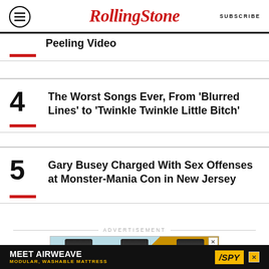RollingStone | SUBSCRIBE
Peeling Video
4 The Worst Songs Ever, From 'Blurred Lines' to 'Twinkle Twinkle Little Bitch'
5 Gary Busey Charged With Sex Offenses at Monster-Mania Con in New Jersey
[Figure (advertisement): Advertisement section showing FRONT product tubes and 'MEET AIRWEAVE MODULAR, WASHABLE MATTRESS' banner with SPY logo]